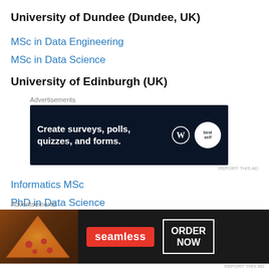University of Dundee (Dundee, UK)
MSc in Data Engineering
MSc in Data Science
University of Edinburgh (UK)
[Figure (screenshot): Advertisement banner: 'Create surveys, polls, quizzes, and forms.' with WordPress and BestSelf icons on dark navy background]
Informatics MSc
PhD in Data Science
[Figure (screenshot): Advertisement banner for Seamless food delivery: pizza image on left, Seamless red badge in center, 'ORDER NOW' button on right, dark background]